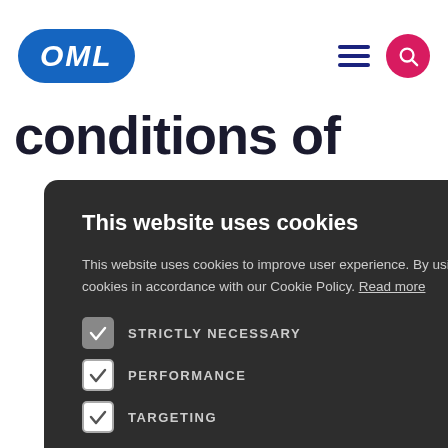[Figure (logo): OML logo — white bold italic text on blue rounded rectangle background]
[Figure (screenshot): Cookie consent modal on dark background with STRICTLY NECESSARY, PERFORMANCE, TARGETING checkboxes and ACCEPT / DECLINE ALL buttons]
This website uses cookies
This website uses cookies to improve user experience. By using our website you consent to all cookies in accordance with our Cookie Policy. Read more
STRICTLY NECESSARY
PERFORMANCE
TARGETING
ACCEPT
DECLINE ALL
SHOW DETAILS